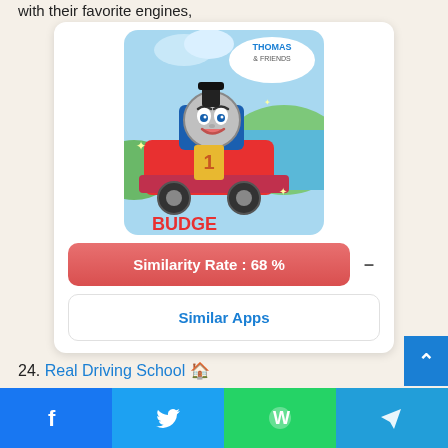with their favorite engines,
[Figure (photo): Thomas & Friends app icon showing Thomas the Tank Engine character, with BUDGE logo in lower left corner]
Similarity Rate : 68 % –
Similar Apps
24. Real Driving School 🏠
Facebook | Twitter | WhatsApp | Telegram share buttons